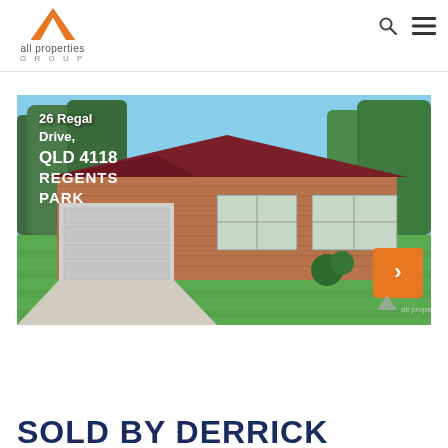[Figure (logo): All Properties Group logo — orange triangle/arrow icon above text 'all properties GROUP']
[Figure (photo): Exterior photo of a brick house at 26 Regal Drive, Regents Park QLD 4118 with green lawn, garage, tiled roof. Text overlay shows address. Orange arrow button on right side. All Properties watermark bottom right.]
SOLD BY DERRICK